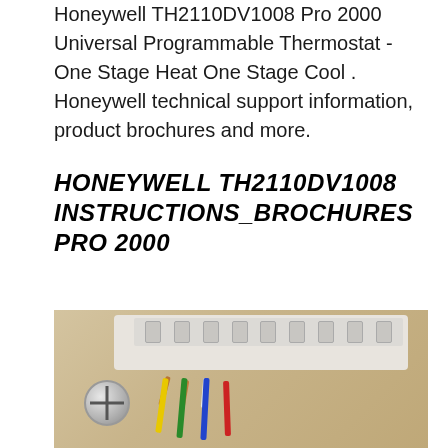Honeywell TH2110DV1008 Pro 2000 Universal Programmable Thermostat - One Stage Heat One Stage Cool . Honeywell technical support information, product brochures and more.
HONEYWELL TH2110DV1008 INSTRUCTIONS_BROCHURES PRO 2000
[Figure (photo): Close-up photo of the back of a Honeywell thermostat showing the wiring terminal strip. Multiple colored wires (yellow, green, blue, red) and copper wires are connected to labeled terminals (A, W, R, RC, etc.) on the white plastic mounting plate. A Phillips head screw is visible on the left side of the plate.]